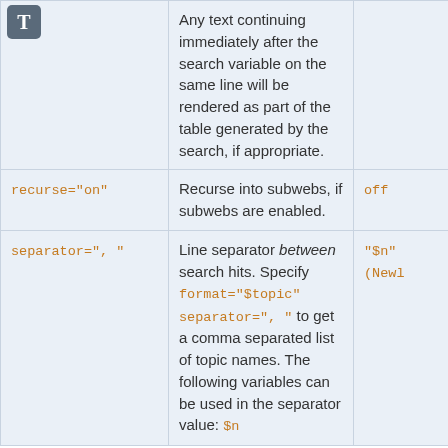| Parameter | Description | Default |
| --- | --- | --- |
| (icon T) | Any text continuing immediately after the search variable on the same line will be rendered as part of the table generated by the search, if appropriate. |  |
| recurse="on" | Recurse into subwebs, if subwebs are enabled. | off |
| separator=", " | Line separator between search hits. Specify format="$topic" separator=", " to get a comma separated list of topic names. The following variables can be used in the separator value: $n | "$n" (Newl |